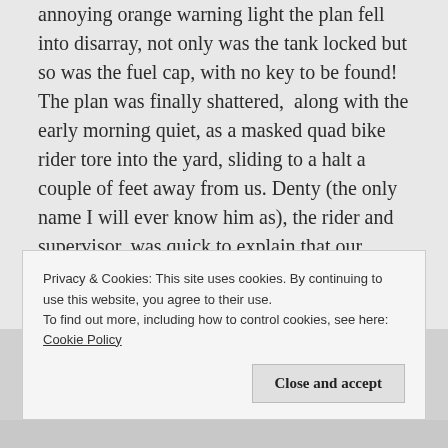annoying orange warning light the plan fell into disarray, not only was the tank locked but so was the fuel cap, with no key to be found! The plan was finally shattered,  along with the early morning quiet, as a masked quad bike rider tore into the yard, sliding to a halt a couple of feet away from us. Denty (the only name I will ever know him as), the rider and supervisor, was quick to explain that our intended wall was still undert' snow and our trip to the hills was scuppered. Fearing, or
Privacy & Cookies: This site uses cookies. By continuing to use this website, you agree to their use.
To find out more, including how to control cookies, see here:
Cookie Policy
Close and accept